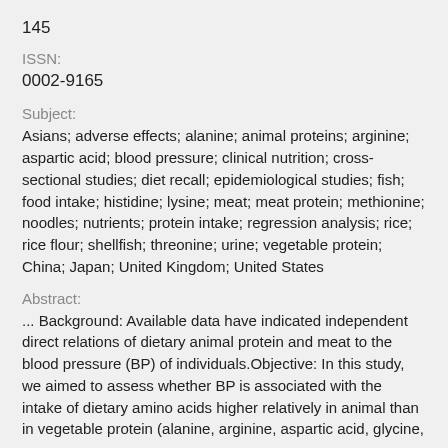145
ISSN:
0002-9165
Subject:
Asians; adverse effects; alanine; animal proteins; arginine; aspartic acid; blood pressure; clinical nutrition; cross-sectional studies; diet recall; epidemiological studies; fish; food intake; histidine; lysine; meat; meat protein; methionine; noodles; nutrients; protein intake; regression analysis; rice; rice flour; shellfish; threonine; urine; vegetable protein; China; Japan; United Kingdom; United States
Abstract:
... Background: Available data have indicated independent direct relations of dietary animal protein and meat to the blood pressure (BP) of individuals.Objective: In this study, we aimed to assess whether BP is associated with the intake of dietary amino acids higher relatively in animal than in vegetable protein (alanine, arginine, aspartic acid, glycine,